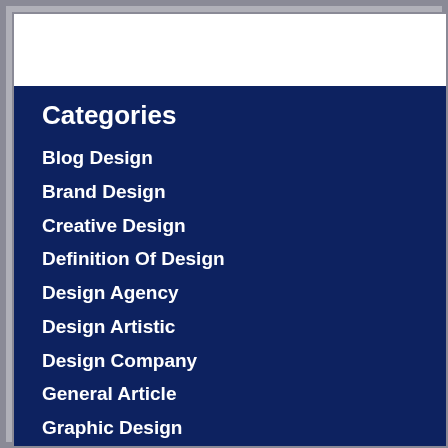Categories
Blog Design
Brand Design
Creative Design
Definition Of Design
Design Agency
Design Artistic
Design Company
General Article
Graphic Design
graphic design job
Graphic Design Jobs